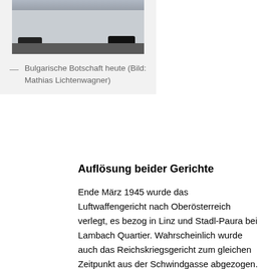[Figure (photo): Photograph of the Bulgarian Embassy building on Schwindgasse, showing cars parked in front of a classical European building facade]
— Bulgarische Botschaft heute (Bild: Mathias Lichtenwagner)
Auflösung beider Gerichte
Ende März 1945 wurde das Luftwaffengericht nach Oberösterreich verlegt, es bezog in Linz und Stadl-Paura bei Lambach Quartier. Wahrscheinlich wurde auch das Reichskriegsgericht zum gleichen Zeitpunkt aus der Schwindgasse abgezogen. Gegen Richter und Bedienstete des Luftwaffen-Gerichts in der Schwindgasse wurde 1945 ein Ermittlungsverfahren nach dem Kriegsverbrechergesetz geführt, bis Mitte 1947 jedoch alle Beschuldigten enthaftet und alle Verfahren eingestellt. Die Richter gaben zwar zu Protokoll, dutzende Todesurteile gegen Deserteure und Wehrkraftzersetzer gesprochen zu haben… das blieb für sie aber ohne Konsequenzen.